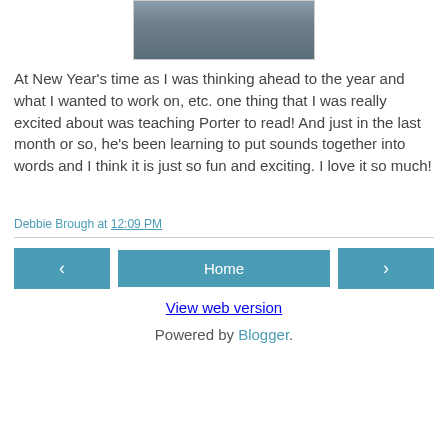[Figure (photo): Partial photo showing a person's hand near a wooden surface, wearing jeans, cropped at top of page]
At New Year's time as I was thinking ahead to the year and what I wanted to work on, etc. one thing that I was really excited about was teaching Porter to read! And just in the last month or so, he's been learning to put sounds together into words and I think it is just so fun and exciting. I love it so much!
Debbie Brough at 12:09 PM
Home
View web version
Powered by Blogger.